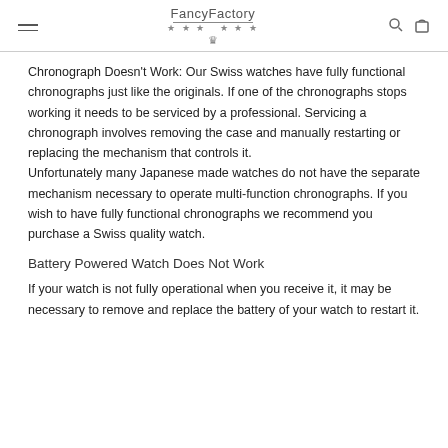FancyFactory
Chronograph Doesn't Work: Our Swiss watches have fully functional chronographs just like the originals. If one of the chronographs stops working it needs to be serviced by a professional. Servicing a chronograph involves removing the case and manually restarting or replacing the mechanism that controls it.
Unfortunately many Japanese made watches do not have the separate mechanism necessary to operate multi-function chronographs. If you wish to have fully functional chronographs we recommend you purchase a Swiss quality watch.
Battery Powered Watch Does Not Work
If your watch is not fully operational when you receive it, it may be necessary to remove and replace the battery of your watch to restart it.